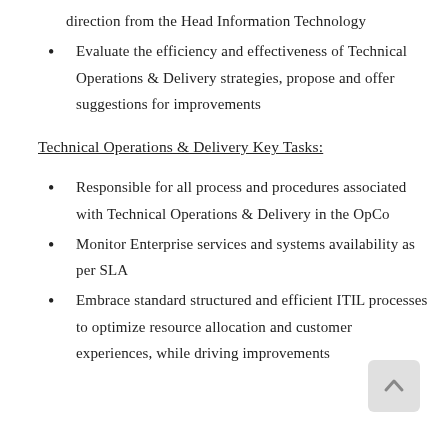direction from the Head Information Technology
Evaluate the efficiency and effectiveness of Technical Operations & Delivery strategies, propose and offer suggestions for improvements
Technical Operations & Delivery Key Tasks:
Responsible for all process and procedures associated with Technical Operations & Delivery in the OpCo
Monitor Enterprise services and systems availability as per SLA
Embrace standard structured and efficient ITIL processes to optimize resource allocation and customer experiences, while driving improvements